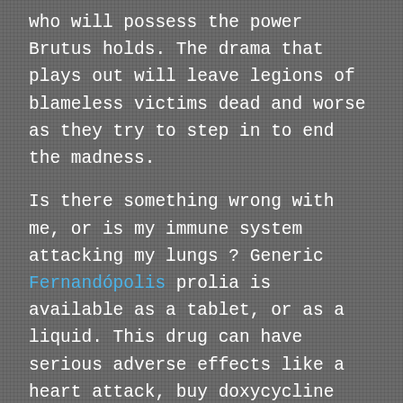who will possess the power Brutus holds. The drama that plays out will leave legions of blameless victims dead and worse as they try to step in to end the madness.
Is there something wrong with me, or is my immune system attacking my lungs ? Generic Fernandópolis prolia is available as a tablet, or as a liquid. This drug can have serious adverse effects like a heart attack, buy doxycycline hyclate 20mg tablets and buy